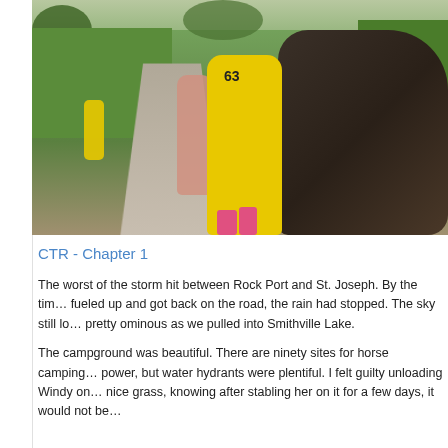[Figure (photo): Outdoor photo of a person in a bright yellow rain suit with the number 63 on the back and pink rain boots, walking alongside a dark horse on a wet paved path. Other people and horses are visible in the background on a green grassy area on a cloudy day.]
CTR - Chapter 1
The worst of the storm hit between Rock Port and St. Joseph. By the time we fueled up and got back on the road, the rain had stopped. The sky still looked pretty ominous as we pulled into Smithville Lake.
The campground was beautiful. There are ninety sites for horse camping with no power, but water hydrants were plentiful. I felt guilty unloading Windy on such nice grass, knowing after stabling her on it for a few days, it would not be